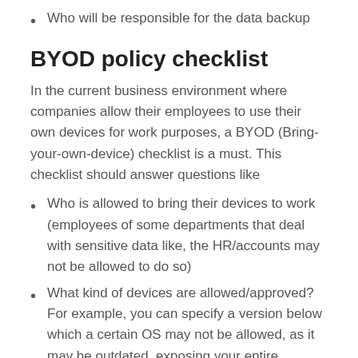Who will be responsible for the data backup
BYOD policy checklist
In the current business environment where companies allow their employees to use their own devices for work purposes, a BYOD (Bring-your-own-device) checklist is a must. This checklist should answer questions like
Who is allowed to bring their devices to work (employees of some departments that deal with sensitive data like, the HR/accounts may not be allowed to do so)
What kind of devices are allowed/approved? For example, you can specify a version below which a certain OS may not be allowed, as it may be outdated, exposing your entire network to any security threat that it may be vulnerable to